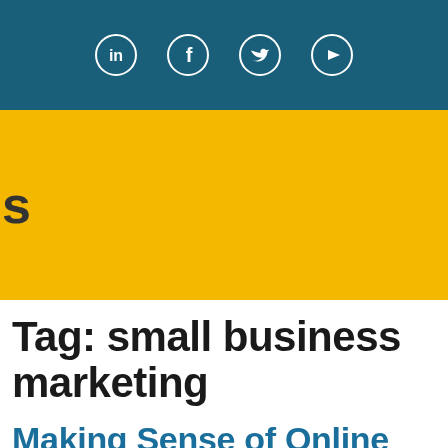[Figure (other): Header bar with social media icons: LinkedIn, Facebook, Twitter, YouTube — white circle outlines on teal background]
[Figure (other): Yellow/gold banner with partial letter S visible on left edge]
Tag: small business marketing
Making Sense of Online Marketing: A Simple